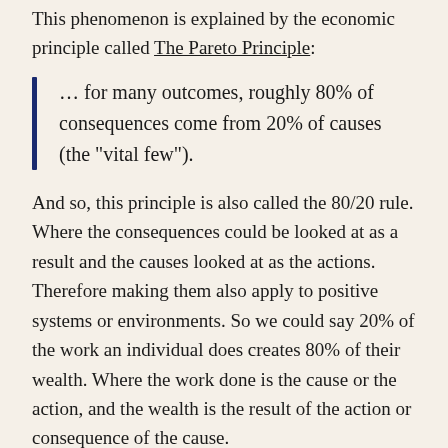This phenomenon is explained by the economic principle called The Pareto Principle:
… for many outcomes, roughly 80% of consequences come from 20% of causes (the "vital few").
And so, this principle is also called the 80/20 rule. Where the consequences could be looked at as a result and the causes looked at as the actions. Therefore making them also apply to positive systems or environments. So we could say 20% of the work an individual does creates 80% of their wealth. Where the work done is the cause or the action, and the wealth is the result of the action or consequence of the cause.
I look at communities and their engagement levels through this lens too. Doing this allows me to say "80%